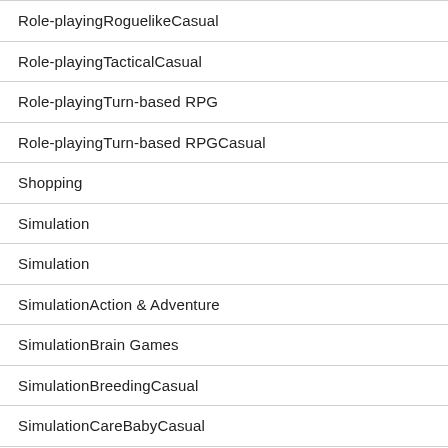| Role-playingRoguelikeCasual |
| Role-playingTacticalCasual |
| Role-playingTurn-based RPG |
| Role-playingTurn-based RPGCasual |
| Shopping |
| Simulation |
| Simulation |
| SimulationAction & Adventure |
| SimulationBrain Games |
| SimulationBreedingCasual |
| SimulationCareBabyCasual |
| SimulationCareDentist |
| SimulationCareDoctor |